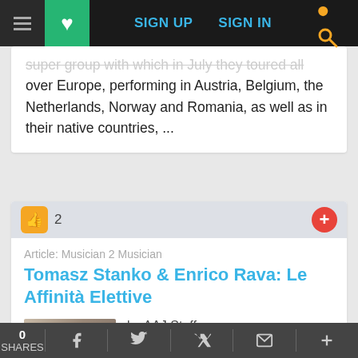SIGN UP  SIGN IN
super group with which in July they toured all over Europe, performing in Austria, Belgium, the Netherlands, Norway and Romania, as well as in their native countries, ...
2
Article: Musician 2 Musician
Tomasz Stanko & Enrico Rava: Le Affinità Elettive
by AAJ Staff
July 29, 2018
0 SHARES